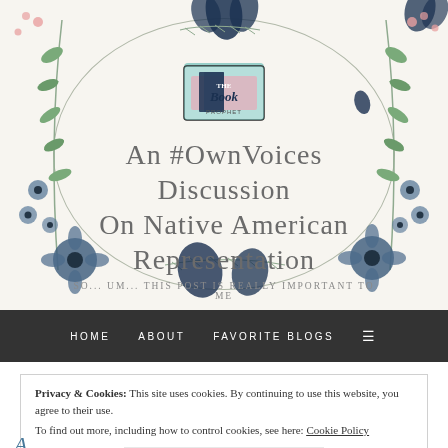[Figure (illustration): Floral decorative banner with watercolor flowers (blue, pink, sage green) arranged around an oval border. A logo for 'The Book Prophet' overlays the center top.]
An #OwnVoices Discussion on Native American Representation
SO... UM... THIS POST IS REALLY IMPORTANT TO ME
The Book Prophet
HOME   ABOUT   FAVORITE BLOGS   ☰
Privacy & Cookies: This site uses cookies. By continuing to use this website, you agree to their use. To find out more, including how to control cookies, see here: Cookie Policy
Close and accept